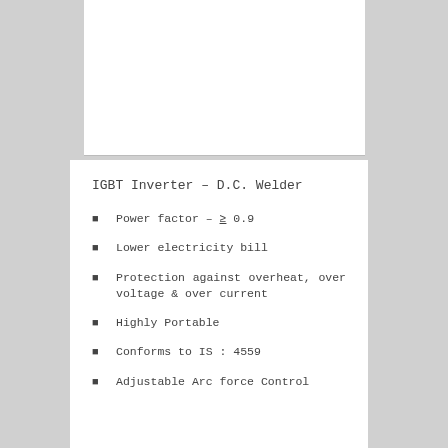IGBT Inverter – D.C. Welder
Power factor – ≥ 0.9
Lower electricity bill
Protection against overheat, over voltage & over current
Highly Portable
Conforms to IS : 4559
Adjustable Arc force Control